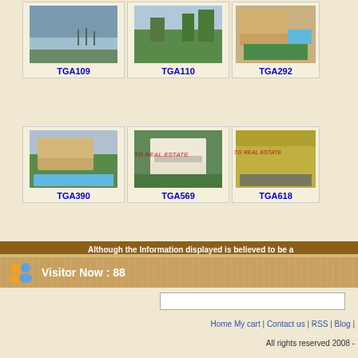[Figure (photo): Property photo TGA109 - landscape view with water and trees]
TGA109
[Figure (photo): Property photo TGA110 - garden/green area view]
TGA110
[Figure (photo): Property photo TGA292 - villa with swimming pool]
TGA292
[Figure (photo): Property photo TGA390 - large villa with pool]
TGA390
[Figure (photo): Property photo TGA569 - two-story villa with watermark]
TGA569
[Figure (photo): Property photo TGA618 - apartment building with balconies watermark]
TGA618
Although the Information displayed is believed to be a
Visitor Now : 88
Home My cart | Contact us | RSS | Blog |
All rights reserved 2008 -